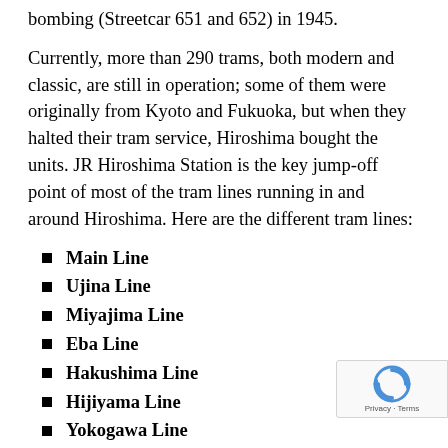bombing (Streetcar 651 and 652) in 1945.
Currently, more than 290 trams, both modern and classic, are still in operation; some of them were originally from Kyoto and Fukuoka, but when they halted their tram service, Hiroshima bought the units. JR Hiroshima Station is the key jump-off point of most of the tram lines running in and around Hiroshima. Here are the different tram lines:
Main Line
Ujina Line
Miyajima Line
Eba Line
Hakushima Line
Hijiyama Line
Yokogawa Line
Fare: ¥180 (flat rate within central Hiroshima)
Note: Fare increases as you get farther away from